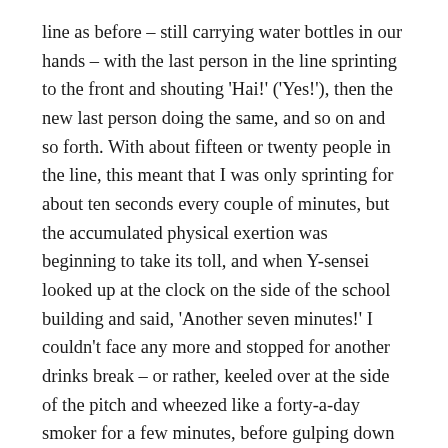line as before – still carrying water bottles in our hands – with the last person in the line sprinting to the front and shouting 'Hai!' ('Yes!'), then the new last person doing the same, and so on and so forth. With about fifteen or twenty people in the line, this meant that I was only sprinting for about ten seconds every couple of minutes, but the accumulated physical exertion was beginning to take its toll, and when Y-sensei looked up at the clock on the side of the school building and said, 'Another seven minutes!' I couldn't face any more and stopped for another drinks break – or rather, keeled over at the side of the pitch and wheezed like a forty-a-day smoker for a few minutes, before gulping down another litre of water and waiting for the dizziness to stop.
I managed to re-join the line for the last couple of laps, but by the time we had completed those, even